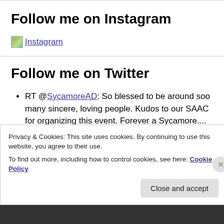Follow me on Instagram
[Figure (other): Instagram logo image used as a link]
Follow me on Twitter
RT @SycamoreAD: So blessed to be around soo many sincere, loving people. Kudos to our SAAC for organizing this event. Forever a Sycamore....
Privacy & Cookies: This site uses cookies. By continuing to use this website, you agree to their use. To find out more, including how to control cookies, see here: Cookie Policy
Close and accept